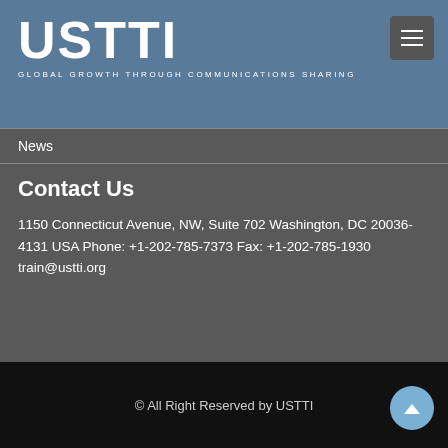USTTI GLOBAL GROWTH THROUGH COMMUNICATIONS SHARING
News
Contact Us
1150 Connecticut Avenue, NW, Suite 702 Washington, DC 20036-4131 USA Phone: +1-202-785-7373 Fax: +1-202-785-1930 train@ustti.org
© All Right Reserved by USTTI